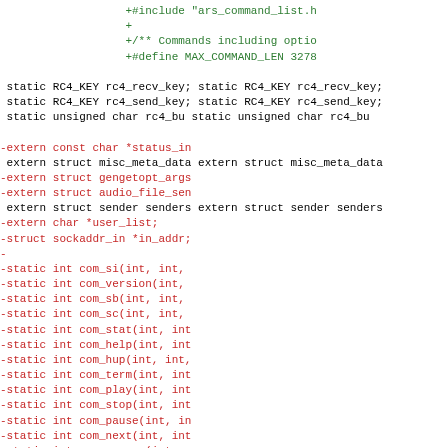[Figure (screenshot): A code diff view showing changes to a C source file. Green lines (prefixed with +) show additions including #include, a blank line, a comment about Commands including options, and a #define for MAX_COMMAND_LEN 3278. Red lines (prefixed with -) show removed declarations and function prototypes. Black lines (no prefix) show unchanged code with static variables and extern declarations.]